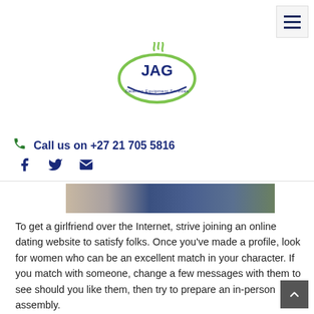[Figure (logo): JAG Catering Equipment Services logo — green oval with JAG text and steam graphic]
Call us on +27 21 705 5816
[Figure (infographic): Social media icons: Facebook, Twitter, Email]
[Figure (photo): Partial photo strip showing people]
To get a girlfriend over the Internet, strive joining an online dating website to satisfy folks. Once you've made a profile, look for women who can be an excellent match in your character. If you match with someone, change a few messages with them to see should you like them, then try to prepare an in-person assembly.